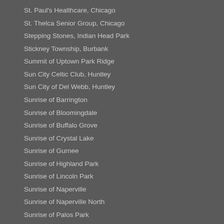St. Paul's Healthcare, Chicago
St. Thelca Senior Group, Chicago
Stepping Stones, Indian Head Park
Stickney Township, Burbank
Summit of Uptown Park Ridge
Sun City Celtic Club, Huntley
Sun City of Del Webb, Huntley
Sunrise of Barrington
Sunrise of Bloomingdale
Sunrise of Buffalo Grove
Sunrise of Crystal Lake
Sunrise of Gurnee
Sunrise of Highland Park
Sunrise of Lincoln Park
Sunrise of Naperville
Sunrise of Naperville North
Sunrise of Palos Park
Sunrise of Park Ridge
Sunrise of Schaumburg